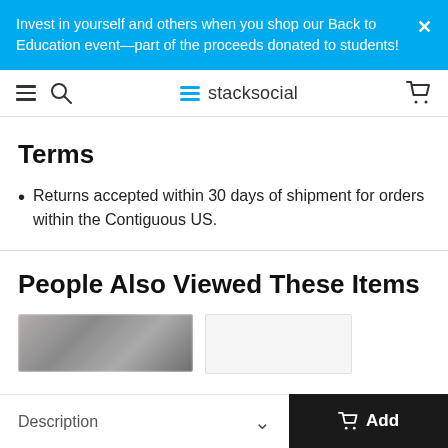Invest in yourself and others when you shop our Back to Education event—part of the proceeds donated to students!
stacksocial
Terms
Returns accepted within 30 days of shipment for orders within the Contiguous US.
People Also Viewed These Items
[Figure (photo): Partially visible product image thumbnail]
Description